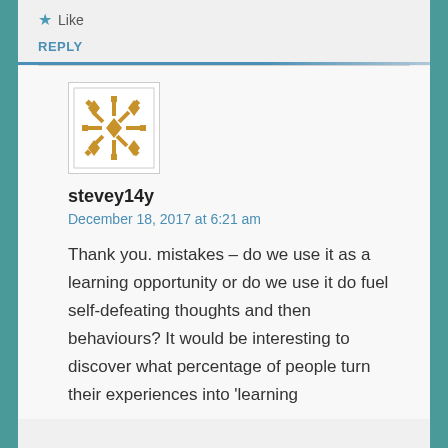★ Like
REPLY
[Figure (illustration): Golden/yellow decorative avatar icon with geometric snowflake-like pattern]
stevey14y
December 18, 2017 at 6:21 am
Thank you. mistakes – do we use it as a learning opportunity or do we use it do fuel self-defeating thoughts and then behaviours? It would be interesting to discover what percentage of people turn their experiences into 'learning